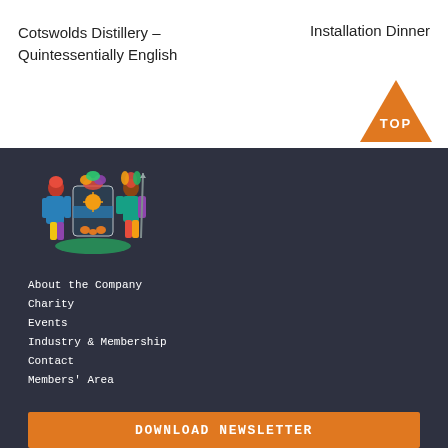Cotswolds Distillery – Quintessentially English
Installation Dinner
[Figure (other): Orange triangle/arrow pointing up with text TOP]
[Figure (illustration): Coat of arms / heraldic crest illustration with two figures flanking a shield]
About the Company
Charity
Events
Industry & Membership
Contact
Members' Area
DOWNLOAD NEWSLETTER